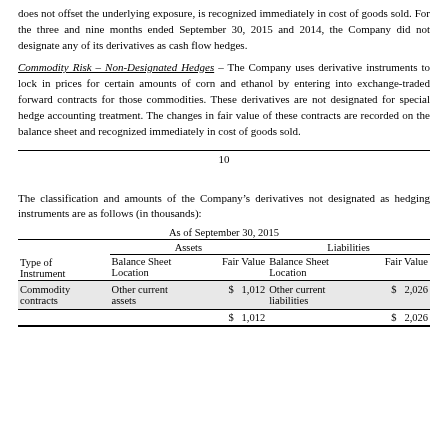does not offset the underlying exposure, is recognized immediately in cost of goods sold. For the three and nine months ended September 30, 2015 and 2014, the Company did not designate any of its derivatives as cash flow hedges.
Commodity Risk – Non-Designated Hedges – The Company uses derivative instruments to lock in prices for certain amounts of corn and ethanol by entering into exchange-traded forward contracts for those commodities. These derivatives are not designated for special hedge accounting treatment. The changes in fair value of these contracts are recorded on the balance sheet and recognized immediately in cost of goods sold.
10
The classification and amounts of the Company's derivatives not designated as hedging instruments are as follows (in thousands):
| Type of Instrument | Balance Sheet Location (Assets) | Fair Value (Assets) | Balance Sheet Location (Liabilities) | Fair Value (Liabilities) |
| --- | --- | --- | --- | --- |
| Commodity contracts | Other current assets | $ 1,012 | Other current liabilities | $ 2,026 |
|  |  | $ 1,012 |  | $ 2,026 |